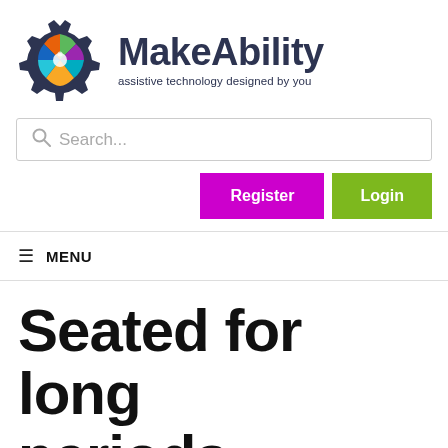[Figure (logo): MakeAbility logo: a colorful gear icon with colorful shapes inside (orange, green, purple, teal, yellow person shapes), next to large bold text 'MakeAbility' and tagline 'assistive technology designed by you']
Search...
Register
Login
≡ MENU
Seated for long periods